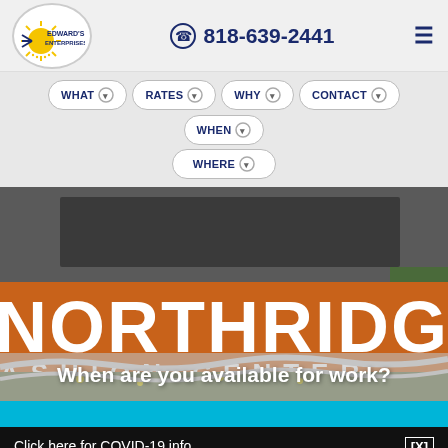[Figure (logo): Edward's Enterprises circular logo with sun/rays motif]
818-639-2441
[Figure (screenshot): Northridge Fashion Center building exterior photo with orange sign]
When are you available for work?
Click here for COVID-19 info.